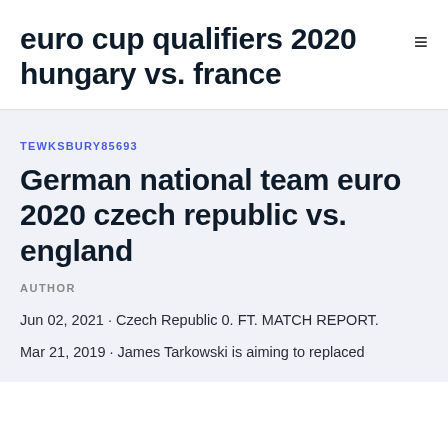euro cup qualifiers 2020 hungary vs. france
TEWKSBURY85693
German national team euro 2020 czech republic vs. england
AUTHOR
Jun 02, 2021 · Czech Republic 0. FT. MATCH REPORT.
Mar 21, 2019 · James Tarkowski is aiming to replaced